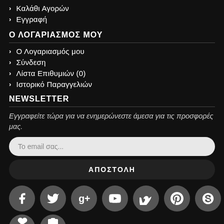> Καλάθι Αγορών
> Εγγραφή
Ο ΛΟΓΑΡΙΑΣΜΟΣ ΜΟΥ
> Ο Λογαριασμός μου
> Σύνδεση
> Λίστα Επιθυμιών (0)
> Ιστορικό Παραγγελιών
NEWSLETTER
Εγγραφείτε τώρα για να ενημερώνεστε άμεσα για τις προσφορές μας.
Το email σας...
ΑΠΟΣΤΟΛΗ
[Figure (infographic): Row of social media icon buttons (circular, dark grey): Facebook, Twitter, Google+, YouTube, Vimeo, Pinterest, Skype, LinkedIn, and partially visible heart and camera icons in a second row.]